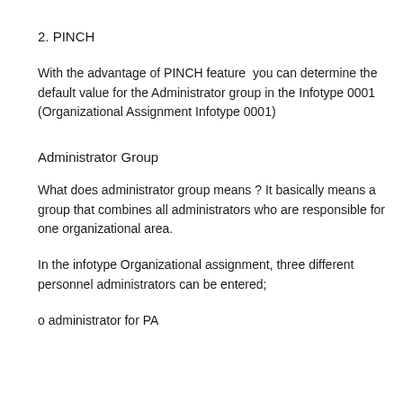2. PINCH
With the advantage of PINCH feature  you can determine the default value for the Administrator group in the Infotype 0001 (Organizational Assignment Infotype 0001)
Administrator Group
What does administrator group means ? It basically means a group that combines all administrators who are responsible for one organizational area.
In the infotype Organizational assignment, three different personnel administrators can be entered;
o administrator for PA